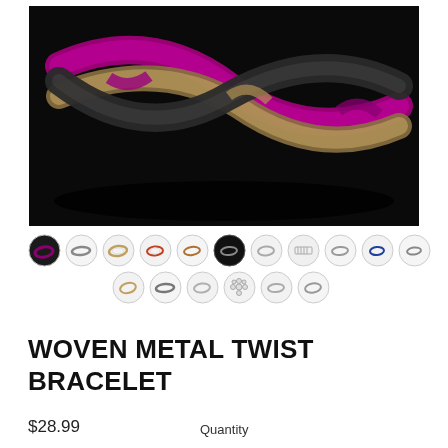[Figure (photo): Close-up product photo of a woven metal twist bracelet with black, gold/bronze, and purple/magenta strands twisted together, on a black background.]
[Figure (photo): Row of small circular thumbnail images showing various bracelet color/style variants, displayed as small icons.]
WOVEN METAL TWIST BRACELET
$28.99
Quantity